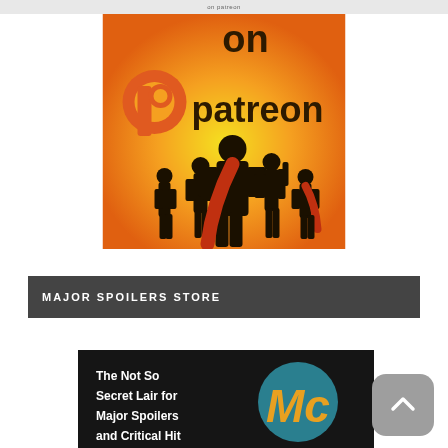on patreon
[Figure (illustration): Patreon promotional image showing 'on patreon' text with Patreon logo and superhero silhouettes on orange/yellow gradient background]
MAJOR SPOILERS STORE
[Figure (illustration): Major Spoilers store image with dark background, 'The Not So Secret Lair for Major Spoilers and Critical Hit' text, and circular MC logo in teal/gold]